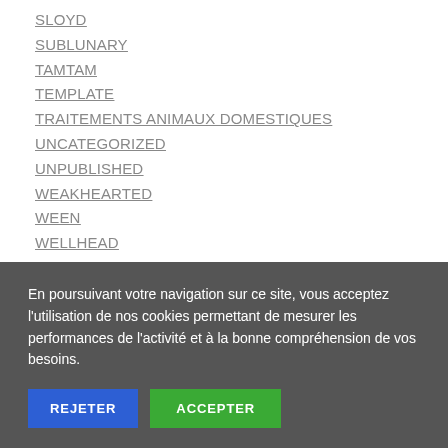SLOYD
SUBLUNARY
TAMTAM
TEMPLATE
TRAITEMENTS ANIMAUX DOMESTIQUES
UNCATEGORIZED
UNPUBLISHED
WEAKHEARTED
WEEN
WELLHEAD
WELLINTENTIONED
WHETSTONE
YEARS
En poursuivant votre navigation sur ce site, vous acceptez l'utilisation de nos cookies permettant de mesurer les performances de l'activité et à la bonne compréhension de vos besoins.
REJETER
ACCEPTER